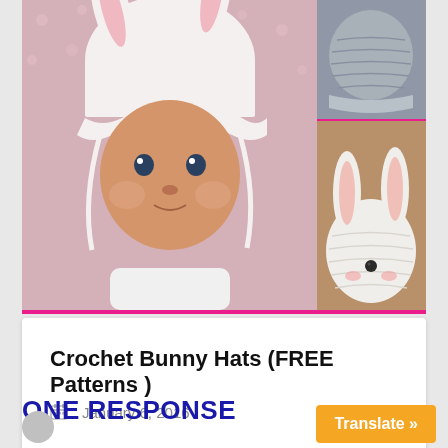[Figure (photo): Collage of baby wearing a pink crocheted bunny hat (main large photo on left), a grey crocheted hat closeup (top right), and a white crocheted bunny hat with ears (bottom right). Pink border at bottom of collage.]
Crochet Bunny Hats (FREE Patterns )
January 6, 2016
ONE RESPONSE
Translate »